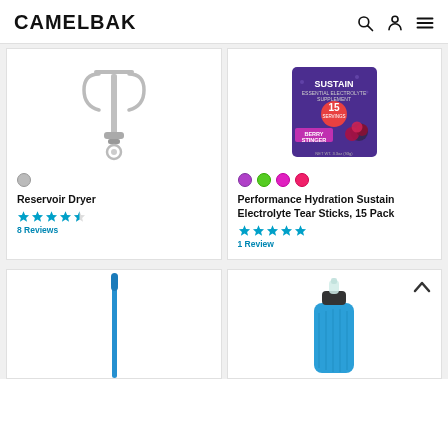CAMELBAK
[Figure (photo): Reservoir Dryer product image - gray plastic dryer hanger]
Reservoir Dryer
[Figure (other): 4.5 stars rating]
8 Reviews
[Figure (photo): Performance Hydration Sustain Electrolyte Tear Sticks 15 Pack - purple packaging with berry flavor]
Performance Hydration Sustain Electrolyte Tear Sticks, 15 Pack
[Figure (other): 5 stars rating]
1 Review
[Figure (photo): Blue hydration tube/straw product]
[Figure (photo): Blue soft flask/bottle with clear bite valve]